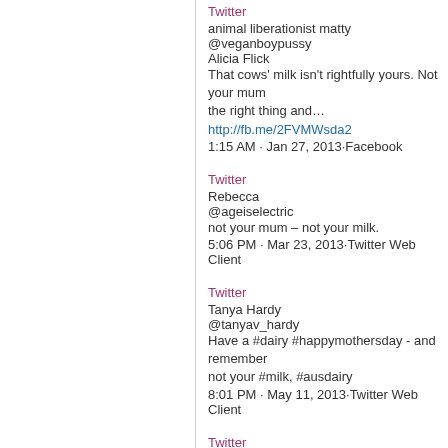Twitter
animal liberationist matty
@veganboypussy
Alicia Flick
That cows' milk isn't rightfully yours. Not your mum the right thing and… http://fb.me/2FVMWsda2
1:15 AM · Jan 27, 2013·Facebook
Twitter
Rebecca
@ageiselectric
not your mum – not your milk.
5:06 PM · Mar 23, 2013·Twitter Web Client
Twitter
Tanya Hardy
@tanyav_hardy
Have a #dairy #happymothersday - and remember not your #milk, #ausdairy
8:01 PM · May 11, 2013·Twitter Web Client
Twitter
Josh
@4566olddddddd
Not your mum? Not your milk. Go Vegan. #vegan a